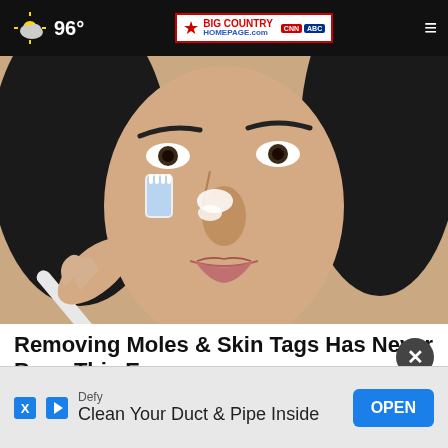96° | Big Country Homepage | CNN | ABC
[Figure (photo): Close-up photo of a woman applying white cream to her nose with a toothbrush]
Removing Moles & Skin Tags Has Never Been This Easy
Healthier Living Tips
[Figure (other): Advertisement banner: Defy - Clean Your Duct & Pipe Inside - OPEN button]